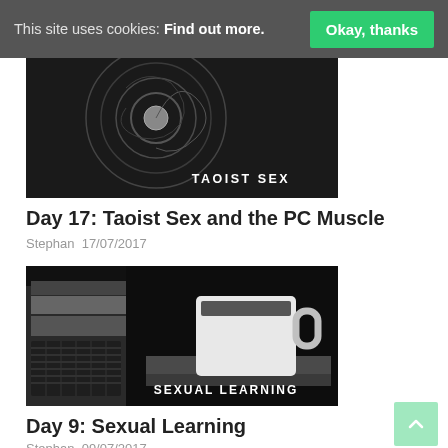This site uses cookies: Find out more. [Okay, thanks]
[Figure (photo): Black and white photo of a circular mandala or decorative pattern with text overlay 'TAOIST SEX']
Day 17: Taoist Sex and the PC Muscle
Stephan  17/07/2017
[Figure (photo): Black and white photo of a white coffee mug on books next to a wicker basket, with text overlay 'SEXUAL LEARNING']
Day 9: Sexual Learning
Stephan  09/07/2017